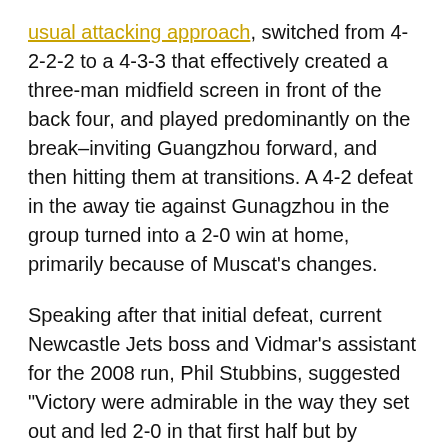usual attacking approach, switched from 4-2-2-2 to a 4-3-3 that effectively created a three-man midfield screen in front of the back four, and played predominantly on the break–inviting Guangzhou forward, and then hitting them at transitions. A 4-2 defeat in the away tie against Gunagzhou in the group turned into a 2-0 win at home, primarily because of Muscat's changes.
Speaking after that initial defeat, current Newcastle Jets boss and Vidmar's assistant for the 2008 run, Phil Stubbins, suggested "Victory were admirable in the way they set out and led 2-0 in that first half but by defending so expansively it left big spaces between their lines and Guangzhou exploited that emphatically in the second."